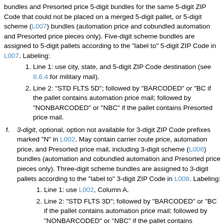bundles and Presorted price 5-digit bundles for the same 5-digit ZIP Code that could not be placed on a merged 5-digit pallet, or 5-digit scheme (L007) bundles (automation price and cobundled automation and Presorted price pieces only). Five-digit scheme bundles are assigned to 5-digit pallets according to the "label to" 5-digit ZIP Code in L007. Labeling:
1. Line 1: use city, state, and 5-digit ZIP Code destination (see 8.6.4 for military mail).
2. Line 2: "STD FLTS 5D"; followed by "BARCODED" or "BC" if the pallet contains automation price mail; followed by "NONBARCODED" or "NBC" if the pallet contains Presorted price mail.
f. 3-digit, optional, option not available for 3-digit ZIP Code prefixes marked "N" in L002. May contain carrier route price, automation price, and Presorted price mail, including 3-digit scheme (L008) bundles (automation and cobundled automation and Presorted price pieces only). Three-digit scheme bundles are assigned to 3-digit pallets according to the "label to" 3-digit ZIP Code in L008. Labeling:
1. Line 1: use L002, Column A.
2. Line 2: "STD FLTS 3D"; followed by "BARCODED" or "BC" if the pallet contains automation price mail; followed by "NONBARCODED" or "NBC" if the pallet contains